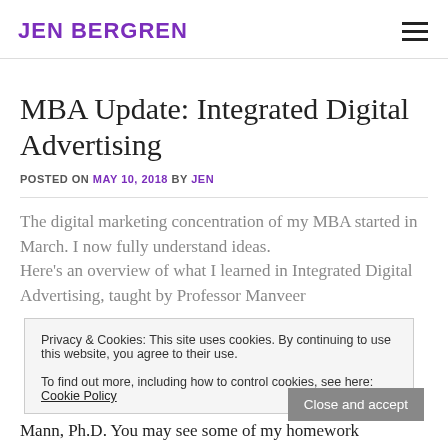JEN BERGREN
MBA Update: Integrated Digital Advertising
POSTED ON MAY 10, 2018 BY JEN
Privacy & Cookies: This site uses cookies. By continuing to use this website, you agree to their use. To find out more, including how to control cookies, see here: Cookie Policy
The digital marketing concentration of my MBA started in March. I now fully understand ideas. Here's an overview of what I learned in Integrated Digital Advertising, taught by Professor Manveer Mann, Ph.D. You may see some of my homework